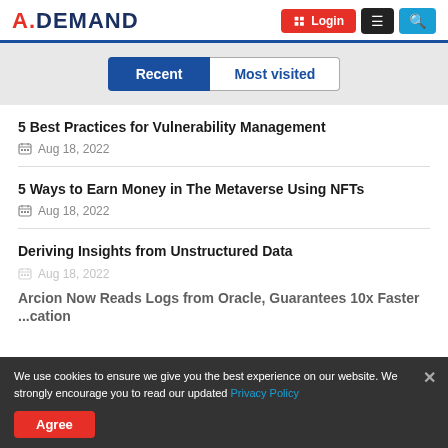A.DEMAND | Login | Menu | Search
Recent | Most visited
5 Best Practices for Vulnerability Management
Aug 18, 2022
5 Ways to Earn Money in The Metaverse Using NFTs
Aug 18, 2022
Deriving Insights from Unstructured Data
Aug 18, 2022
Arcion Now Reads Logs from Oracle, Guarantees 10x Faster ...cation
We use cookies to ensure we give you the best experience on our website. We strongly encourage you to read our updated Privacy Policy
Agree